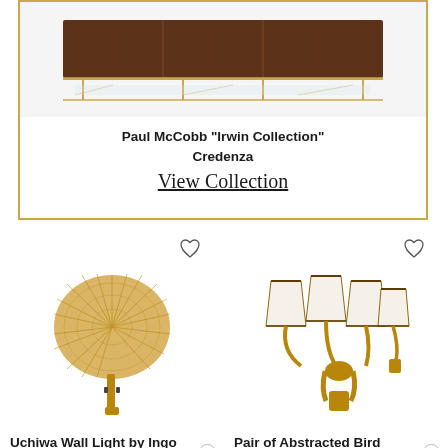[Figure (photo): Paul McCobb Irwin Collection Credenza - a long low wooden credenza on a brass frame with glass shelf, shown from above against white background]
Paul McCobb "Irwin Collection" Credenza
View Collection
[Figure (photo): Uchiwa Wall Light by Ingo Maurer - a large fan-shaped woven light fixture with brass stem wall sconce]
[Figure (photo): Pair of Abstracted Bird Bronze Sconces Italy - two multi-arm brass wall sconces with white shades, shown as a pair]
Uchiwa Wall Light by Ingo Maurer
$4,188
Pair of Abstracted Bird Bronze Sconces, Italy,...
$16,000 / set